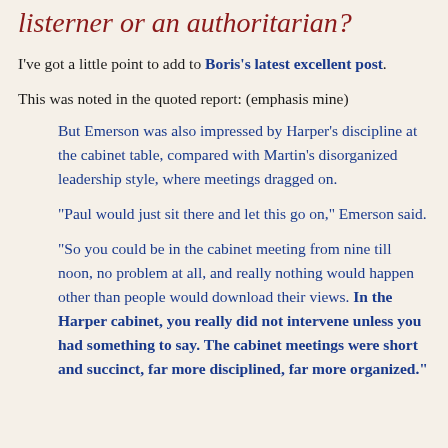listerner or an authoritarian?
I've got a little point to add to Boris's latest excellent post.
This was noted in the quoted report: (emphasis mine)
But Emerson was also impressed by Harper's discipline at the cabinet table, compared with Martin's disorganized leadership style, where meetings dragged on.

"Paul would just sit there and let this go on," Emerson said.

"So you could be in the cabinet meeting from nine till noon, no problem at all, and really nothing would happen other than people would download their views. In the Harper cabinet, you really did not intervene unless you had something to say. The cabinet meetings were short and succinct, far more disciplined, far more organized."